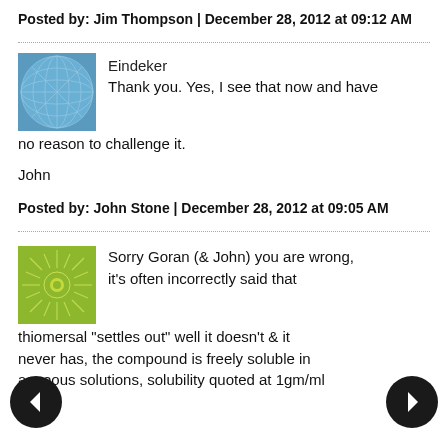Posted by: Jim Thompson | December 28, 2012 at 09:12 AM
Eindeker
Thank you. Yes, I see that now and have no reason to challenge it.
John
Posted by: John Stone | December 28, 2012 at 09:05 AM
Sorry Goran (& John) you are wrong, it's often incorrectly said that thiomersal "settles out" well it doesn't & it never has, the compound is freely soluble in aqueous solutions, solubility quoted at 1gm/ml